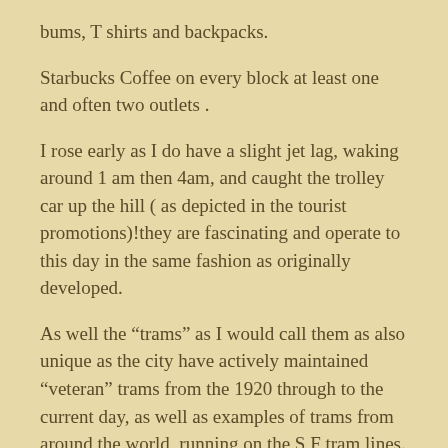bums, T shirts and backpacks.
Starbucks Coffee on every block at least one and often two outlets .
I rose early as I do have a slight jet lag, waking around 1 am then 4am, and caught the trolley car up the hill ( as depicted in the tourist promotions)!they are fascinating and operate to this day in the same fashion as originally developed.
As well the “trams” as I would call them as also unique as the city have actively maintained “veteran” trams from the 1920 through to the current day, as well as examples of trams from around the world, running on the S F tram lines. There is a veteran tram car from Melbourne.